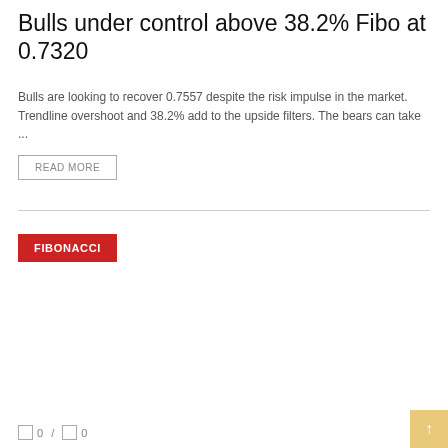Bulls under control above 38.2% Fibo at 0.7320
Bulls are looking to recover 0.7557 despite the risk impulse in the market. Trendline overshoot and 38.2% add to the upside filters. The bears can take ...
READ MORE
FIBONACCI